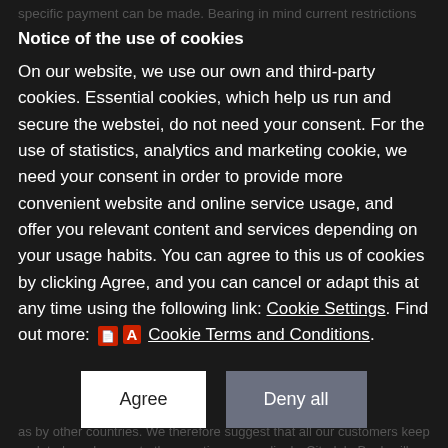specific payment can be made. Bearing in mind current restrictions and sanctions, Citadele Bank is currently unable to guarantee the completion of all payments to business partners in Russia and Belarus. Furthermore, the bank recommends to be mindful of national restrictions regarding Russian and Belarus, which also implicate the operation of EU businesses and their partners in these countries.
Notice of the use of cookies
On our website, we use our own and third-party cookies. Essential cookies, which help us run and secure the webstei, do not need your consent. For the use of statistics, analytics and marketing cookie, we need your consent in order to provide more convenient website and online service usage, and offer you relevant content and services depending on your usage habits. You can agree to this us of cookies by clicking Agree, and you can cancel or adapt this at any time using the following link: Cookie Settings. Find out more: [PDF icon] Cookie Terms and Conditions.
As the war develops, the scope of the sanctions against both goods and services categories and sanctioned persons continues to be broadened. These updates also include measures trade both by the EU and the U.S., as well as by other countries. We therefore suggest that all our customers keep updated on changes to the sanctions accordingly. Citadele Bank will certainly continue to inform its customers of these changes, however, considering the speed of changes